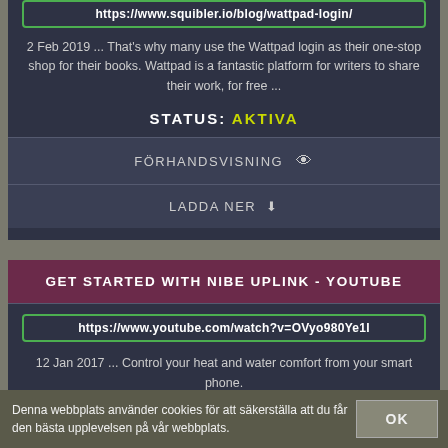https://www.squibler.io/blog/wattpad-login/
2 Feb 2019 ... That's why many use the Wattpad login as their one-stop shop for their books. Wattpad is a fantastic platform for writers to share their work, for free ...
STATUS: AKTIVA
FÖRHANDSVISNING
LADDA NER
GET STARTED WITH NIBE UPLINK - YOUTUBE
https://www.youtube.com/watch?v=OVyo980Ye1I
12 Jan 2017 ... Control your heat and water comfort from your smart phone.
STATUS: AKTIVA
Denna webbplats använder cookies för att säkerställa att du får den bästa upplevelsen på vår webbplats.